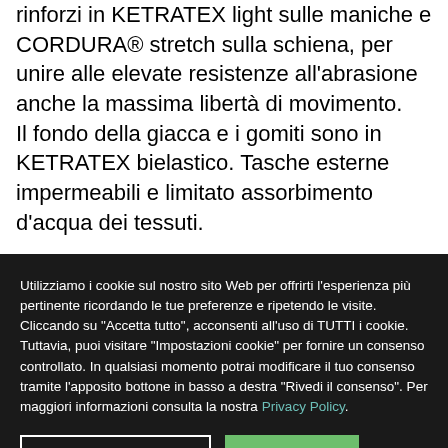rinforzi in KETRATEX light sulle maniche e CORDURA® stretch sulla schiena, per unire alle elevate resistenze all'abrasione anche la massima libertà di movimento. Il fondo della giacca e i gomiti sono in KETRATEX bielastico. Tasche esterne impermeabili e limitato assorbimento d'acqua dei tessuti.
Utilizziamo i cookie sul nostro sito Web per offrirti l'esperienza più pertinente ricordando le tue preferenze e ripetendo le visite. Cliccando su "Accetta tutto", acconsenti all'uso di TUTTI i cookie. Tuttavia, puoi visitare "Impostazioni cookie" per fornire un consenso controllato. In qualsiasi momento potrai modificare il tuo consenso tramite l'apposito bottone in basso a destra "Rivedi il consenso". Per maggiori informazioni consulta la nostra Privacy Policy.